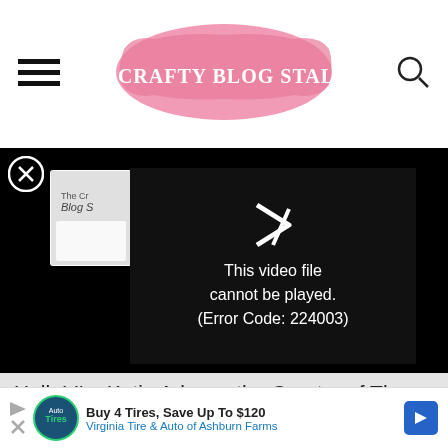The Crafty Blog Stalker
[Figure (screenshot): Video player showing error: This video file cannot be played. (Error Code: 224003)]
Hello! I'm Katie Adams, the Creator of The Crafty Blog Stalker. If you are new to the crafting world, creating can be scary, so I am here to walk you through it.
Buy 4 Tires, Save Up To $120 Virginia Tire & Auto of Ashburn Farms